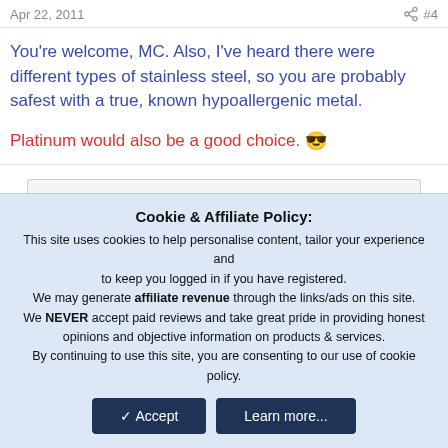Apr 22, 2011  #4
You're welcome, MC. Also, I've heard there were different types of stainless steel, so you are probably safest with a true, known hypoallergenic metal.

Platinum would also be a good choice. 😎
You must log in or register to reply here.
Cookie & Affiliate Policy: This site uses cookies to help personalise content, tailor your experience and to keep you logged in if you have registered. We may generate affiliate revenue through the links/ads on this site. We NEVER accept paid reviews and take great pride in providing honest opinions and objective information on products & services. By continuing to use this site, you are consenting to our use of cookie policy.